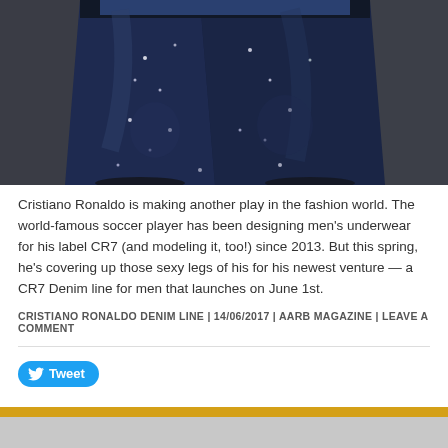[Figure (photo): Close-up photo of a person's lower body wearing dark embellished jeans with small crystal/stud details, with a denim shirt partially visible at top, against a dark gray background.]
Cristiano Ronaldo is making another play in the fashion world. The world-famous soccer player has been designing men's underwear for his label CR7 (and modeling it, too!) since 2013. But this spring, he's covering up those sexy legs of his for his newest venture — a CR7 Denim line for men that launches on June 1st.
CRISTIANO RONALDO DENIM LINE | 14/06/2017 | AARB MAGAZINE | LEAVE A COMMENT
[Figure (screenshot): Tweet button (blue rounded button with Twitter bird icon and 'Tweet' text), followed by a gray banner section with a golden/orange horizontal stripe at the bottom.]